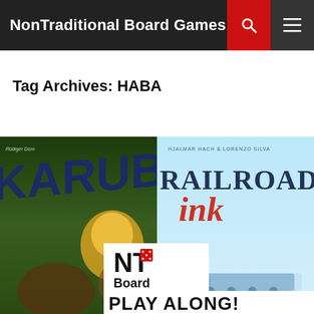NonTraditional Board Games
Tag Archives: HABA
[Figure (illustration): Composite image showing board game covers: Karuba (by Rüdiger Dorn) on the left with jungle adventure artwork, Railroad Ink (by Hjalmar Hach & Lorenzo Silva) on the right with train/map artwork, and an NT Board Games 'Play Along!' logo overlay in the center.]